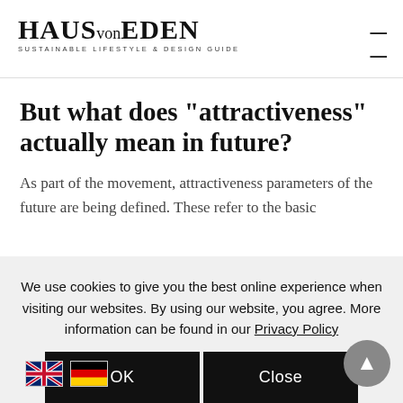HAUS von EDEN — SUSTAINABLE LIFESTYLE & DESIGN GUIDE
But what does "attractiveness" actually mean in future?
As part of the movement, attractiveness parameters of the future are being defined. These refer to the basic
We use cookies to give you the best online experience when visiting our websites. By using our website, you agree. More information can be found in our Privacy Policy
OK   Close